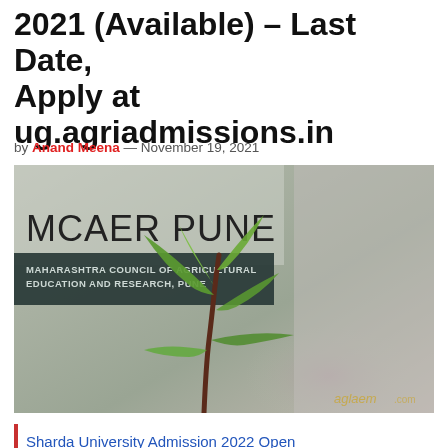2021 (Available) – Last Date, Apply at ug.agriadmissions.in
by Anand Meena — November 19, 2021
[Figure (photo): MCAER PUNE (Maharashtra Council of Agricultural Education and Research, Pune) logo banner with a young green plant sapling in the foreground and blurred background. Watermark reads 'aglаem .com']
Sharda University Admission 2022 Open